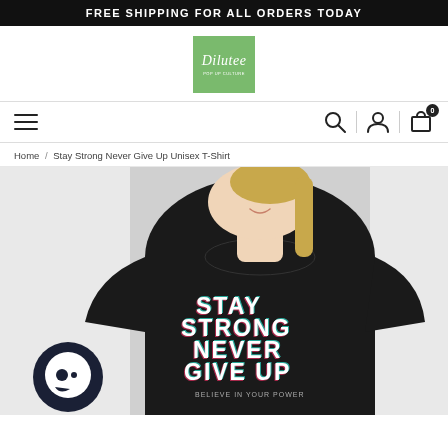FREE SHIPPING FOR ALL ORDERS TODAY
[Figure (logo): Dilutee brand logo on green background with tagline text]
[Figure (infographic): Navigation bar with hamburger menu, search icon, user icon, and cart icon with badge showing 0]
Home / Stay Strong Never Give Up Unisex T-Shirt
[Figure (photo): Woman wearing black t-shirt with glitch-style text reading STAY STRONG NEVER GIVE UP with BELIEVE IN YOUR POWER below, with chat widget icon in lower left]